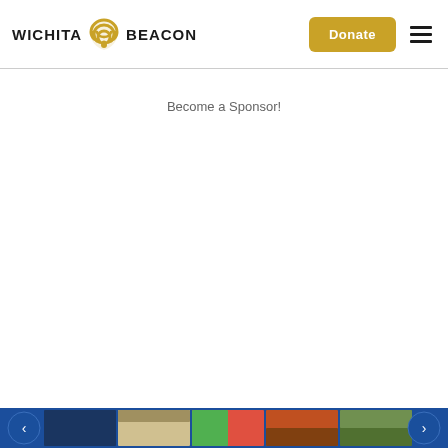WICHITA BEACON — Donate | Menu
Become a Sponsor!
[Figure (screenshot): Footer bar with blue background and small thumbnail images of various articles, flanked by circular navigation arrows on each side.]